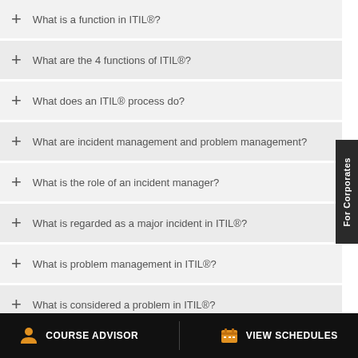What is a function in ITIL®?
What are the 4 functions of ITIL®?
What does an ITIL® process do?
What are incident management and problem management?
What is the role of an incident manager?
What is regarded as a major incident in ITIL®?
What is problem management in ITIL®?
What is considered a problem in ITIL®?
COURSE ADVISOR | VIEW SCHEDULES